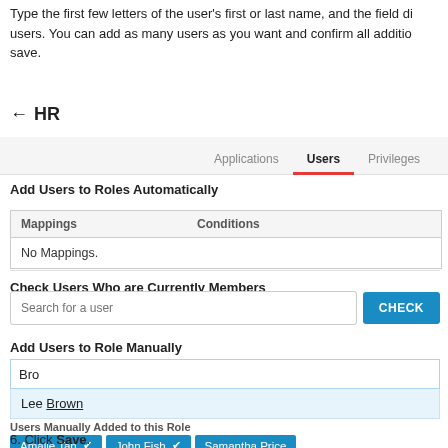Type the first few letters of the user's first or last name, and the field displays matching users. You can add as many users as you want and confirm all additions when you save.
← HR
[Figure (screenshot): Tab navigation bar showing Applications, Users (active/selected with red underline), and Privileges tabs on a gray background.]
Add Users to Roles Automatically
| Mappings | Conditions |
| --- | --- |
| No Mappings. |  |
Check Users Who are Currently Members
[Figure (screenshot): Search input field with placeholder 'Search for a user' and a blue CHECK button.]
Add Users to Role Manually
[Figure (screenshot): Text input showing 'Bro' with autocomplete dropdown showing 'Lee Brown' highlighted in light blue. Below, user tags for Amalie Tan, John Fish, and Samantha Price with checkmarks on blue background.]
6. Click Save.